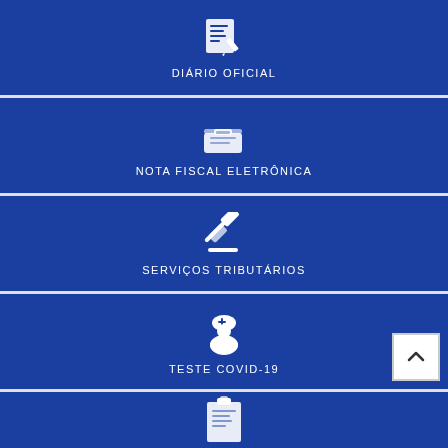[Figure (infographic): Blue menu tile with document/gear icon and label DIÁRIO OFICIAL]
DIÁRIO OFICIAL
[Figure (infographic): Blue menu tile with briefcase/document icon and label NOTA FISCAL ELETRÔNICA]
NOTA FISCAL ELETRÔNICA
[Figure (infographic): Blue menu tile with gavel/hammer icon and label SERVIÇOS TRIBUTÁRIOS]
SERVIÇOS TRIBUTÁRIOS
[Figure (infographic): Blue menu tile with nurse/medical person icon and label TESTE COVID-19]
TESTE COVID-19
[Figure (infographic): Blue menu tile with clipboard icon (partially visible at bottom)]